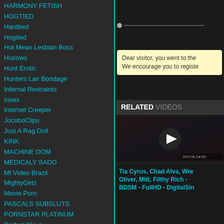HARMONY FETISH
HOGTIED
Hardtied
Hogtied
Hot Mean Lesbian Boss
Hucows
Hunt Erotic
Hunters Lair Bondage
Infernal Restraints
Insex
Internet Creeper
JocoboClips
Just A Rag Doll
KINK
MACHINE DOM
MEDICALY SADO
Mf Video Brazil
MightyGirlz
Movie Porn
PASCALS SUBSLUTS
PORNSTAR PLATINUM
Perfect Slave
Perverse Family
Prime Real Estate
Dear visitor, you went to the We encourage you to registe
RELATED VIDEOS
[Figure (photo): Video thumbnail showing adult content with play button overlay]
Tia Cyrus, Chad Alva, Wre Oliver, Mitt, Filthy Rich - BDSM - FullHD - DigitalSin